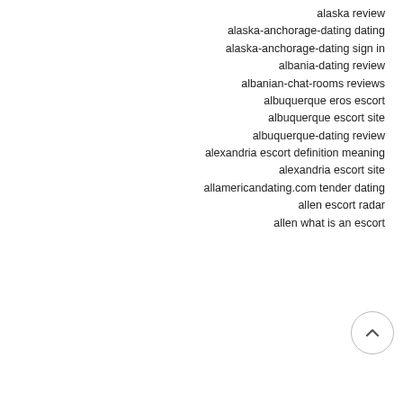alaska review
alaska-anchorage-dating dating
alaska-anchorage-dating sign in
albania-dating review
albanian-chat-rooms reviews
albuquerque eros escort
albuquerque escort site
albuquerque-dating review
alexandria escort definition meaning
alexandria escort site
allamericandating.com tender dating
allen escort radar
allen what is an escort